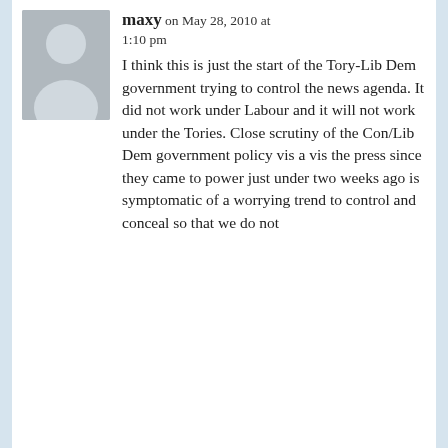[Figure (illustration): Gray placeholder avatar image showing a silhouette of a person (head and shoulders) on a gray background]
maxy on May 28, 2010 at 1:10 pm
I think this is just the start of the Tory-Lib Dem government trying to control the news agenda. It did not work under Labour and it will not work under the Tories. Close scrutiny of the Con/Lib Dem government policy vis a vis the press since they came to power just under two weeks ago is symptomatic of a worrying trend to control and conceal so that we do not